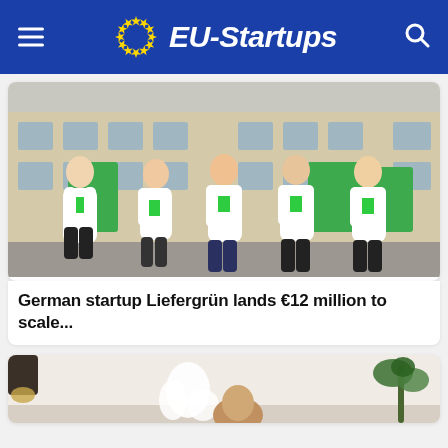EU-Startups
[Figure (photo): Five people in white hoodies with green logo patches standing in front of green Liefergrün branded containers, in a European city courtyard setting]
German startup Liefergrün lands €12 million to scale...
[Figure (photo): Partial image of a person with a white sculptural object and plant in background, interior setting]